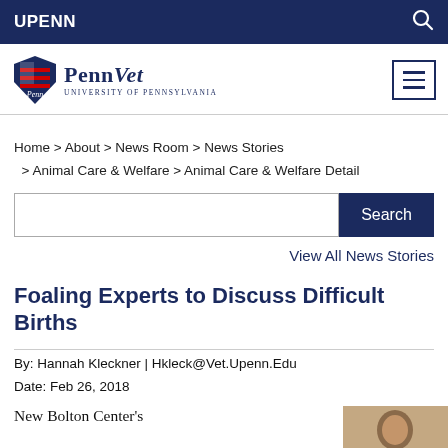UPENN
[Figure (logo): PennVet University of Pennsylvania logo with shield]
Home > About > News Room > News Stories > Animal Care & Welfare > Animal Care & Welfare Detail
Search
View All News Stories
Foaling Experts to Discuss Difficult Births
By: Hannah Kleckner | Hkleck@Vet.Upenn.Edu
Date: Feb 26, 2018
New Bolton Center's
[Figure (photo): Partial photo of a person, cropped at bottom of page]